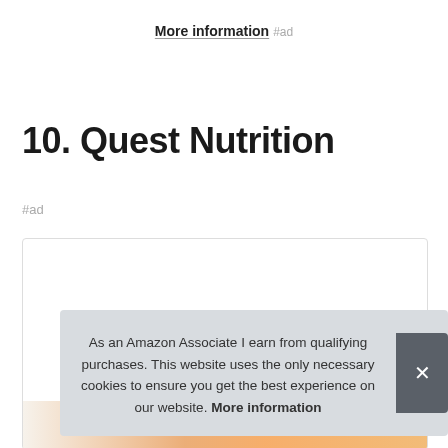More information #ad
10. Quest Nutrition
#ad
[Figure (other): Product card container with partial product image at bottom]
As an Amazon Associate I earn from qualifying purchases. This website uses the only necessary cookies to ensure you get the best experience on our website. More information